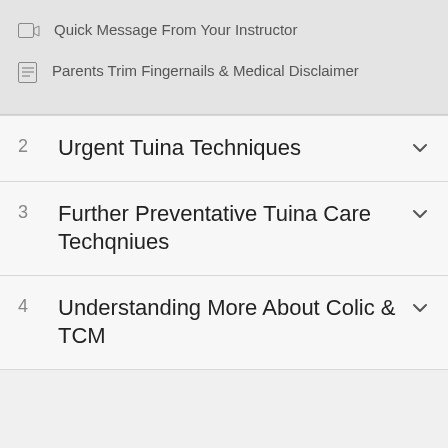Quick Message From Your Instructor
Parents Trim Fingernails & Medical Disclaimer
2  Urgent Tuina Techniques
3  Further Preventative Tuina Care Techqniues
4  Understanding More About Colic & TCM